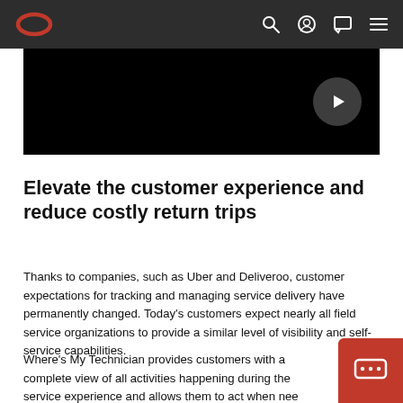Oracle navigation bar with logo and icons
[Figure (screenshot): Black video thumbnail with a circular play button on the right side]
Elevate the customer experience and reduce costly return trips
Thanks to companies, such as Uber and Deliveroo, customer expectations for tracking and managing service delivery have permanently changed. Today's customers expect nearly all field service organizations to provide a similar level of visibility and self-service capabilities.
Where's My Technician provides customers with a complete view of all activities happening during the service experience and allows them to act when nee